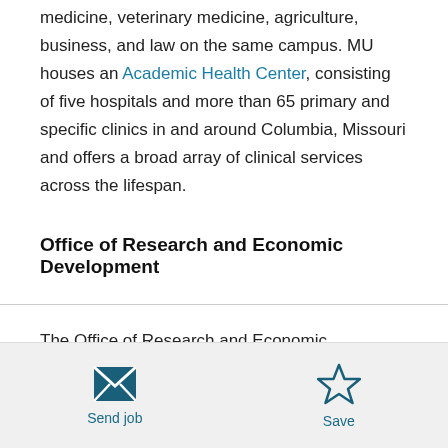medicine, veterinary medicine, agriculture, business, and law on the same campus. MU houses an Academic Health Center, consisting of five hospitals and more than 65 primary and specific clinics in and around Columbia, Missouri and offers a broad array of clinical services across the lifespan.
Office of Research and Economic Development
The Office of Research and Economic Development invests in faculty by providing the resources, support and
Send job  Save